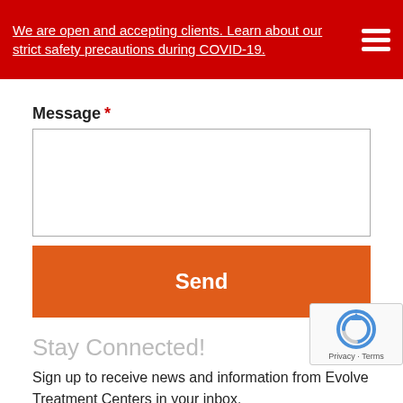We are open and accepting clients. Learn about our strict safety precautions during COVID-19.
Message *
Send
Stay Connected!
Sign up to receive news and information from Evolve Treatment Centers in your inbox.
Email *